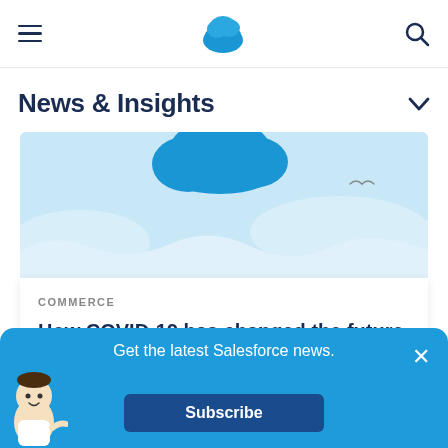Salesforce News & Insights navigation bar with hamburger menu, Salesforce cloud logo, and search icon
News & Insights
[Figure (illustration): Salesforce illustrated sky scene with blue clouds and a bird silhouette on a light blue background, partially cropped at top]
COMMERCE
How COVID-19 has changed the future of digital marketing
Get the latest Salesforce news.
Subscribe
[Figure (illustration): Salesforce Astro mascot character (small cartoon figure) in bottom left corner of subscribe banner]